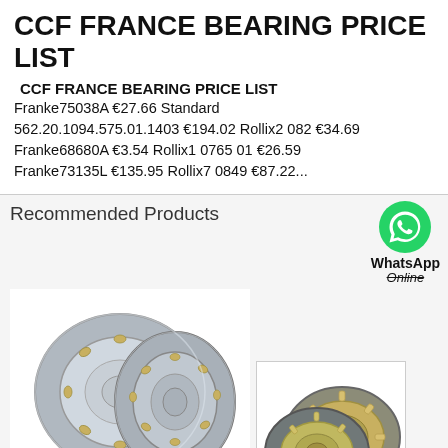CCF FRANCE BEARING PRICE LIST
CCF FRANCE BEARING PRICE LIST
Franke75038A €27.66 Standard 562.20.1094.575.01.1403 €194.02 Rollix2 082 €34.69 Franke68680A €3.54 Rollix1 0765 01 €26.59 Franke73135L €135.95 Rollix7 0849 €87.22...
Recommended Products
[Figure (photo): Two cylindrical roller bearings, silver/steel colored, shown at an angle]
[Figure (photo): Two cylindrical roller bearings with brass cage, shown overlapping, with WhatsApp icon and text 'WhatsApp Online' above, and label 'Cylindrical Roller Bearings' at bottom right]
All Products
Contact Now